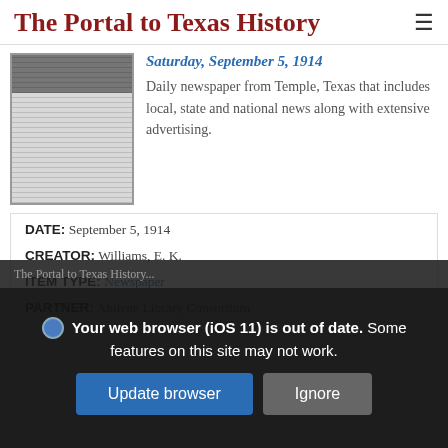The Portal to Texas History
[Figure (photo): Thumbnail image of a newspaper front page, black and white, with dense column text and a dark area at top]
Saturday, September 5, 1914
Daily newspaper from Temple, Texas that includes local, state and national news along with extensive advertising.
DATE: September 5, 1914
CREATOR: Williams, E. K.
ITEM TYPE: Newspaper
PARTNER: Abilene Library Consortium
Your web browser (iOS 11) is out of date. Some features on this site may not work.
Update browser
Ignore